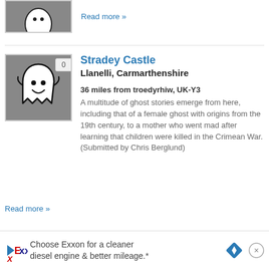[Figure (illustration): Partial thumbnail of a ghost entry at the top of the page, dark grey background]
Read more »
[Figure (illustration): Ghost cartoon illustration on dark grey background with badge showing '0']
Stradey Castle
Llanelli, Carmarthenshire
36 miles from troedyrhiw, UK-Y3
A multitude of ghost stories emerge from here, including that of a female ghost with origins from the 19th century, to a mother who went mad after learning that children were killed in the Crimean War. (Submitted by Chris Berglund)
Read more »
[Figure (infographic): Exxon advertisement banner: Choose Exxon for a cleaner diesel engine & better mileage.*]